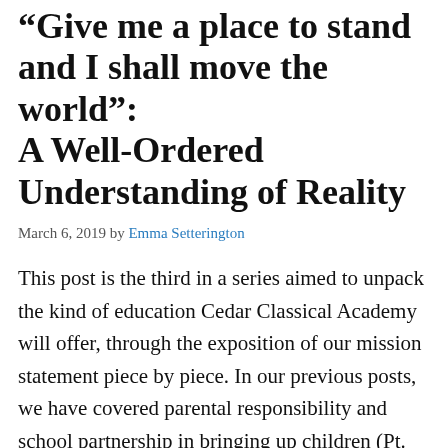“Give me a place to stand and I shall move the world”: A Well-Ordered Understanding of Reality
March 6, 2019 by Emma Setterington
This post is the third in a series aimed to unpack the kind of education Cedar Classical Academy will offer, through the exposition of our mission statement piece by piece. In our previous posts, we have covered parental responsibility and school partnership in bringing up children (Pt. 1), and the key concepts of moral and intellectual